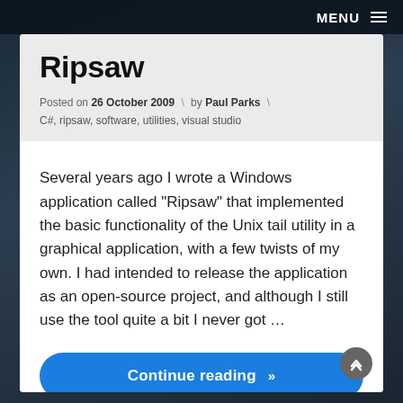MENU
Ripsaw
Posted on 26 October 2009 \ by Paul Parks \
C#, ripsaw, software, utilities, visual studio
Several years ago I wrote a Windows application called "Ripsaw" that implemented the basic functionality of the Unix tail utility in a graphical application, with a few twists of my own. I had intended to release the application as an open-source project, and although I still use the tool quite a bit I never got …
Continue reading »